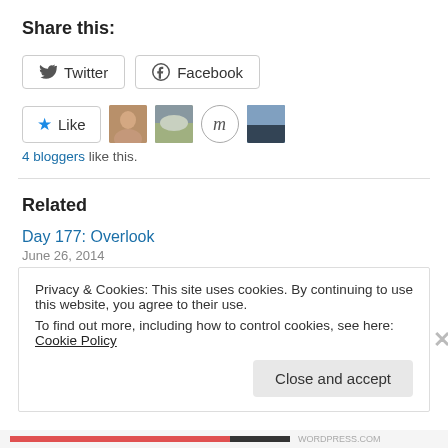Share this:
Twitter  Facebook
Like  4 bloggers like this.
Related
Day 177: Overlook
June 26, 2014
In "ego"
Privacy & Cookies: This site uses cookies. By continuing to use this website, you agree to their use.
To find out more, including how to control cookies, see here: Cookie Policy
Close and accept